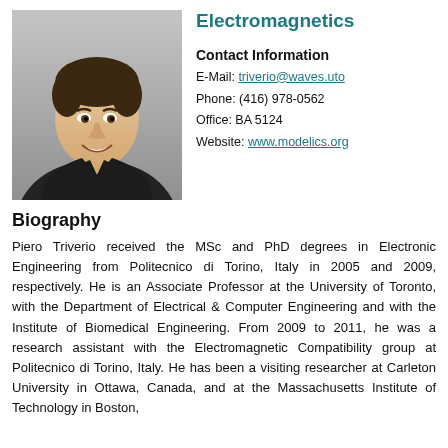Electromagnetics
[Figure (photo): Headshot photo of Piero Triverio, a man in a dark suit with a light blue shirt, smiling, against a gray background.]
Contact Information
E-Mail: triverio@waves.uto
Phone: (416) 978-0562
Office: BA 5124
Website: www.modelics.org
Biography
Piero Triverio received the MSc and PhD degrees in Electronic Engineering from Politecnico di Torino, Italy in 2005 and 2009, respectively. He is an Associate Professor at the University of Toronto, with the Department of Electrical & Computer Engineering and with the Institute of Biomedical Engineering. From 2009 to 2011, he was a research assistant with the Electromagnetic Compatibility group at Politecnico di Torino, Italy. He has been a visiting researcher at Carleton University in Ottawa, Canada, and at the Massachusetts Institute of Technology in Boston,